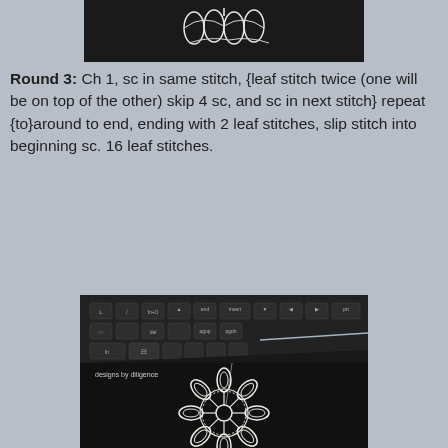[Figure (photo): Top portion of a crochet lace piece on a dark background, partially cropped]
Round 3: Ch 1, sc in same stitch, {leaf stitch twice (one will be on top of the other) skip 4 sc, and sc in next stitch} repeat {to}around to end, ending with 2 leaf stitches, slip stitch into beginning sc. 16 leaf stitches.
[Figure (photo): A white crochet doily/snowflake piece with leaf stitches arranged in circular pattern, lying on a dark laptop keyboard. Watermark reads 'designs by diligence'.]